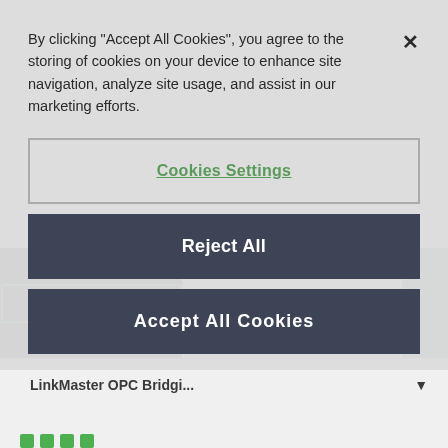By clicking "Accept All Cookies", you agree to the storing of cookies on your device to enhance site navigation, analyze site usage, and assist in our marketing efforts.
Cookies Settings
Reject All
Accept All Cookies
Contact Us
LinkMaster Demo
LinkMaster OPC Bridgi...